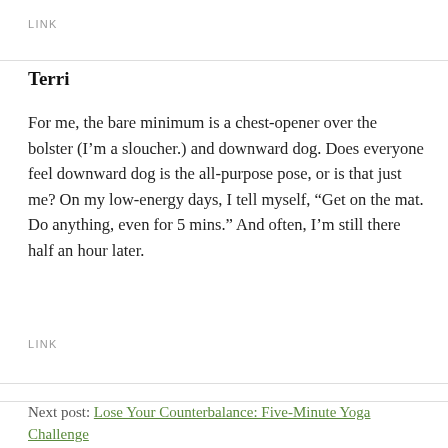LINK
Terri
For me, the bare minimum is a chest-opener over the bolster (I’m a sloucher.) and downward dog. Does everyone feel downward dog is the all-purpose pose, or is that just me? On my low-energy days, I tell myself, “Get on the mat. Do anything, even for 5 mins.” And often, I’m still there half an hour later.
LINK
Next post: Lose Your Counterbalance: Five-Minute Yoga Challenge